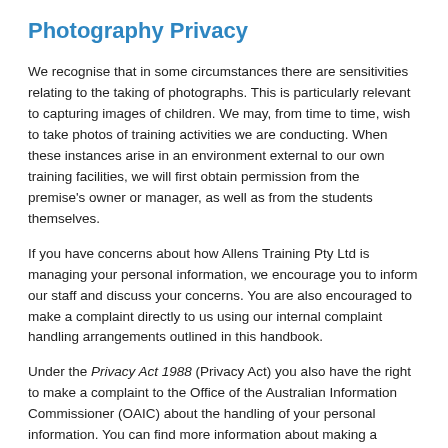Photography Privacy
We recognise that in some circumstances there are sensitivities relating to the taking of photographs. This is particularly relevant to capturing images of children. We may, from time to time, wish to take photos of training activities we are conducting. When these instances arise in an environment external to our own training facilities, we will first obtain permission from the premise's owner or manager, as well as from the students themselves.
If you have concerns about how Allens Training Pty Ltd is managing your personal information, we encourage you to inform our staff and discuss your concerns. You are also encouraged to make a complaint directly to us using our internal complaint handling arrangements outlined in this handbook.
Under the Privacy Act 1988 (Privacy Act) you also have the right to make a complaint to the Office of the Australian Information Commissioner (OAIC) about the handling of your personal information. You can find more information about making a privacy complaint at the website of the OAIC located